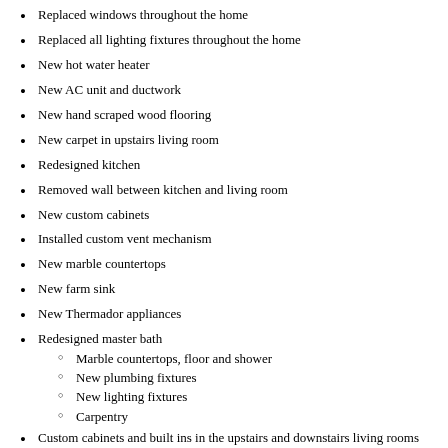Replaced windows throughout the home
Replaced all lighting fixtures throughout the home
New hot water heater
New AC unit and ductwork
New hand scraped wood flooring
New carpet in upstairs living room
Redesigned kitchen
Removed wall between kitchen and living room
New custom cabinets
Installed custom vent mechanism
New marble countertops
New farm sink
New Thermador appliances
Redesigned master bath
Marble countertops, floor and shower
New plumbing fixtures
New lighting fixtures
Carpentry
Custom cabinets and built ins in the upstairs and downstairs living rooms
Custom wet bar in upstairs living room
New window coverings and plantation shutters throughout the home
Secondary bathrooms and half bath renovated
New plumbing fixtures
New tile flooring
New stone countertops